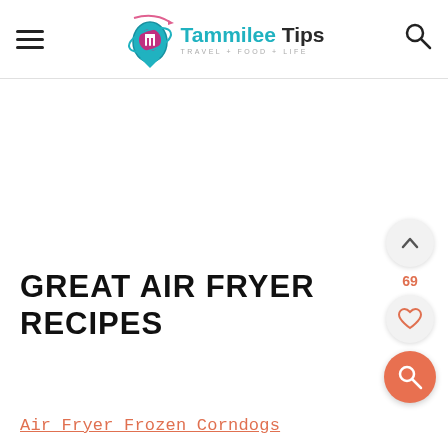Tammilee Tips — TRAVEL+FOOD+LIFE
GREAT AIR FRYER RECIPES
Air Fryer Frozen Corndogs